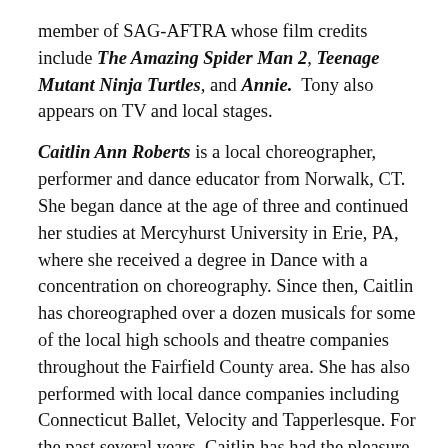member of SAG-AFTRA whose film credits include The Amazing Spider Man 2, Teenage Mutant Ninja Turtles, and Annie. Tony also appears on TV and local stages.
Caitlin Ann Roberts is a local choreographer, performer and dance educator from Norwalk, CT. She began dance at the age of three and continued her studies at Mercyhurst University in Erie, PA, where she received a degree in Dance with a concentration on choreography. Since then, Caitlin has choreographed over a dozen musicals for some of the local high schools and theatre companies throughout the Fairfield County area. She has also performed with local dance companies including Connecticut Ballet, Velocity and Tapperlesque. For the past several years, Caitlin has had the pleasure of being a part of the Curtain Call Family. She has not only enjoyed performing here (42nd Street, Mary Poppins, Gypsy and Spamalot), but has also had the pleasure of being one of Curtain Call's resident choreographers (Mamma Mia, Beauty and the Beast, Annie and A Christmas Story).Caitlin's other performance credits